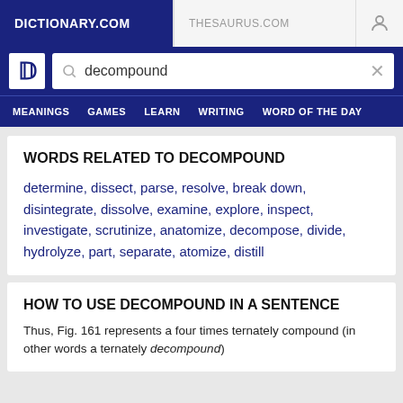DICTIONARY.COM   THESAURUS.COM
WORDS RELATED TO DECOMPOUND
determine, dissect, parse, resolve, break down, disintegrate, dissolve, examine, explore, inspect, investigate, scrutinize, anatomize, decompose, divide, hydrolyze, part, separate, atomize, distill
HOW TO USE DECOMPOUND IN A SENTENCE
Thus, Fig. 161 represents a four times ternately compound (in other words a ternately decompound)